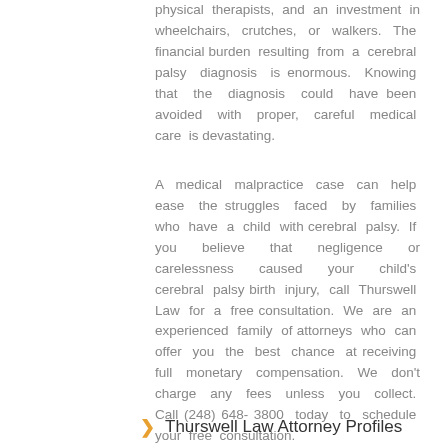physical therapists, and an investment in wheelchairs, crutches, or walkers. The financial burden resulting from a cerebral palsy diagnosis is enormous. Knowing that the diagnosis could have been avoided with proper, careful medical care is devastating.
A medical malpractice case can help ease the struggles faced by families who have a child with cerebral palsy. If you believe that negligence or carelessness caused your child's cerebral palsy birth injury, call Thurswell Law for a free consultation. We are an experienced family of attorneys who can offer you the best chance at receiving full monetary compensation. We don't charge any fees unless you collect. Call (248) 648-3800 today to schedule your free consultation.
Thurswell Law Attorney Profiles